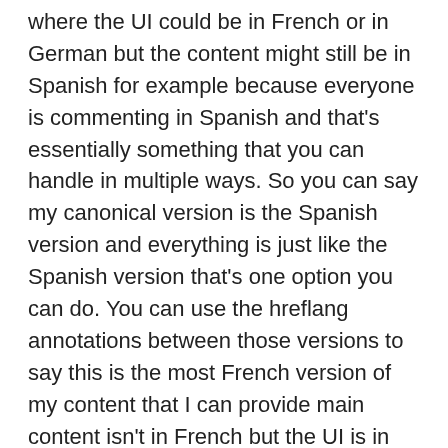where the UI could be in French or in German but the content might still be in Spanish for example because everyone is commenting in Spanish and that's essentially something that you can handle in multiple ways. So you can say my canonical version is the Spanish version and everything is just like the Spanish version that's one option you can do. You can use the hreflang annotations between those versions to say this is the most French version of my content that I can provide main content isn't in French but the UI is in French so user going the page will be able to kind of navigate around my website that's something you could do. And essentially those are the the different variations that you can kind of provide there to let us know a little bit more about what your preferences would be. From a practical point of view that's ultimately more up to you with regards how you want to be shown in search. So if you think it's it's useful for a French user to come to your site and land on the page with the content in Spanish and